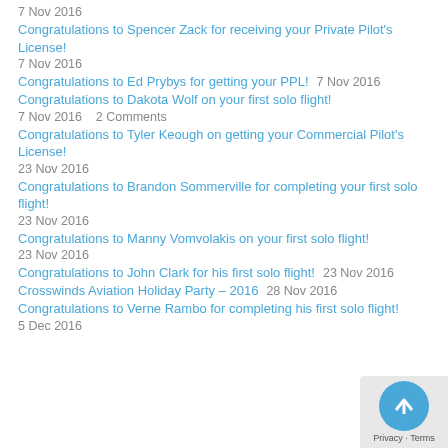7 Nov 2016
Congratulations to Spencer Zack for receiving your Private Pilot's License!
7 Nov 2016
Congratulations to Ed Prybys for getting your PPL!    7 Nov 2016
Congratulations to Dakota Wolf on your first solo flight!
7 Nov 2016    2 Comments
Congratulations to Tyler Keough on getting your Commercial Pilot's License!
23 Nov 2016
Congratulations to Brandon Sommerville for completing your first solo flight!
23 Nov 2016
Congratulations to Manny Vomvolakis on your first solo flight!
23 Nov 2016
Congratulations to John Clark for his first solo flight!    23 Nov 2016
Crosswinds Aviation Holiday Party – 2016    28 Nov 2016
Congratulations to Verne Rambo for completing his first solo flight!
5 Dec 2016